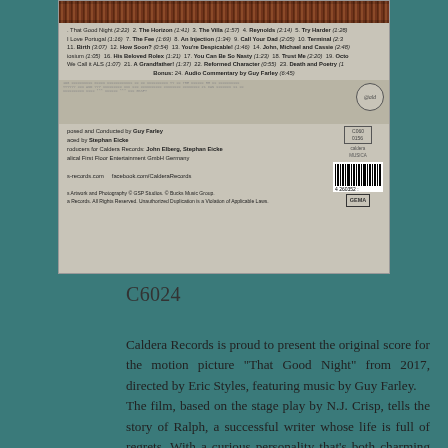[Figure (photo): Album back cover for 'That Good Night' soundtrack by Guy Farley on Caldera Records. Shows a decorative strip at top, track listing, noise/label area, and credits with barcode and GEMA logo at bottom.]
C6024
Caldera Records is proud to present the original score for the motion picture “That Good Night” from 2017, directed by Eric Styles, featuring music by Guy Farley.
The film, based on the stage play by N.J. Crisp, tells the story of Ralph, a successful writer whose life is full of regrets. With a curious personality that’s both charming and rude, Ralph has built a number of “love him or hate him” relationships over his life – unfortunately, his family seems to fall into the latter group. Now in his seventies and terminally ill, Ralph sets out two goals before entering